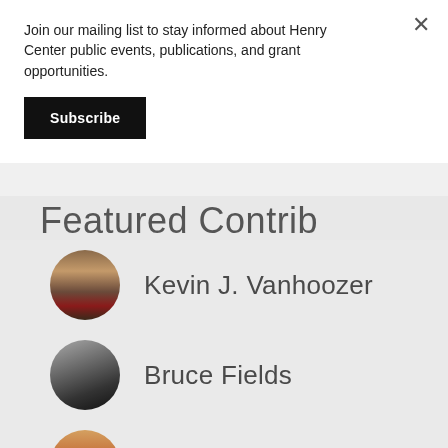Join our mailing list to stay informed about Henry Center public events, publications, and grant opportunities.
Subscribe
Featured Contrib
Kevin J. Vanhoozer
Bruce Fields
Jennifer A. Frey